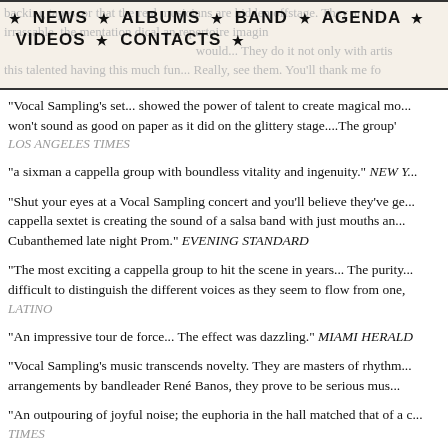★ NEWS ★ ALBUMS ★ BAND ★ AGENDA ★ VIDEOS ★ CONTACTS ★
"Vocal Sampling's set... showed the power of talent to create magical mo... won't sound as good on paper as it did on the glittery stage....The group'
LOS ANGELES TIMES
"a sixman a cappella group with boundless vitality and ingenuity." NEW Y...
"Shut your eyes at a Vocal Sampling concert and you'll believe they've ge... cappella sextet is creating the sound of a salsa band with just mouths an... Cubanthemed late night Prom." EVENING STANDARD
"The most exciting a cappella group to hit the scene in years... The purity... difficult to distinguish the different voices as they seem to flow from one,... LATINO
"An impressive tour de force... The effect was dazzling." MIAMI HERALD
"Vocal Sampling's music transcends novelty. They are masters of rhythm... arrangements by bandleader René Banos, they prove to be serious mus...
"An outpouring of joyful noise; the euphoria in the hall matched that of a c... TIMES